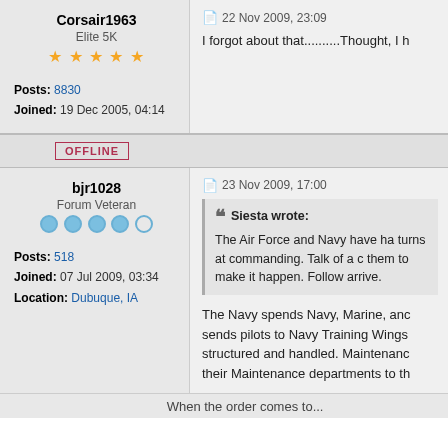Corsair1963 — Elite 5K — Posts: 8830 — Joined: 19 Dec 2005, 04:14
22 Nov 2009, 23:09 — I forgot about that..........Thought, I h
OFFLINE
bjr1028 — Forum Veteran — Posts: 518 — Joined: 07 Jul 2009, 03:34 — Location: Dubuque, IA
23 Nov 2009, 17:00
Siesta wrote: The Air Force and Navy have ha turns at commanding. Talk of a c them to make it happen. Follow arrive.
The Navy spends Navy, Marine, anc sends pilots to Navy Training Wings structured and handled. Maintenanc their Maintenance departments to th
When the order comes to...